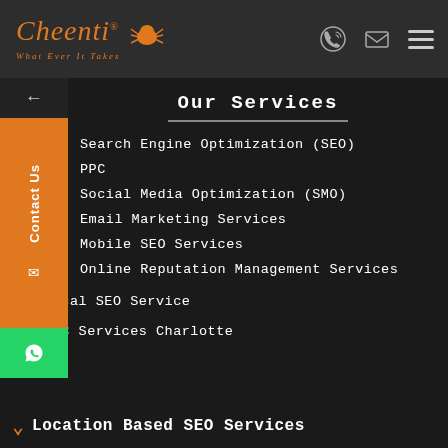[Figure (logo): Cheenti logo with ant mascot and tagline 'What Ever It Takes' in orange on dark background]
Our Services
Search Engine Optimization (SEO)
PPC
Social Media Optimization (SMO)
Email Marketing Services
Mobile SEO Services
Online Reputation Management Services
Local SEO Service
PPC Services Charlotte
Location Based SEO Services